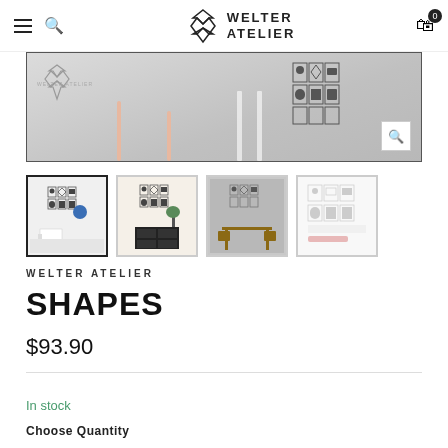WELTER ATELIER
[Figure (photo): Main product image showing wall art with geometric shapes (circles, diamonds, rectangles) in a living room setting with furniture legs visible and Welter Atelier watermark]
[Figure (photo): Thumbnail 1 (active/selected): Wall art in white room with chair]
[Figure (photo): Thumbnail 2: Wall art above black dresser with plant]
[Figure (photo): Thumbnail 3: Wall art in darker room with table and chairs]
[Figure (photo): Thumbnail 4: Product detail/spec sheet view]
WELTER ATELIER
SHAPES
$93.90
In stock
Choose Quantity